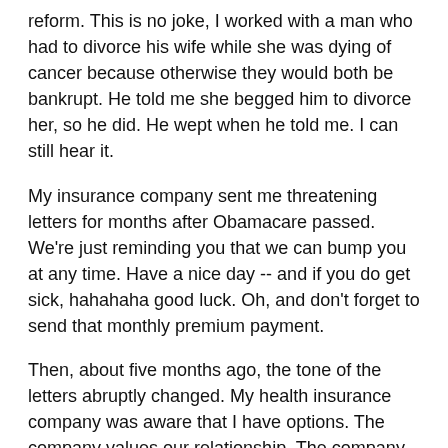reform. This is no joke, I worked with a man who had to divorce his wife while she was dying of cancer because otherwise they would both be bankrupt. He told me she begged him to divorce her, so he did. He wept when he told me. I can still hear it.
My insurance company sent me threatening letters for months after Obamacare passed. We're just reminding you that we can bump you at any time. Have a nice day -- and if you do get sick, hahahaha good luck. Oh, and don't forget to send that monthly premium payment.
Then, about five months ago, the tone of the letters abruptly changed. My health insurance company was aware that I have options. The company values our relationship. The company is available any time to give me advice about the new insurance market. Here's a personal adviser for you. May we schedule a call?
When I was in high school, I had had a crush on a girl for about a year who never gave me a second glance -- until she was struggling with chemistry. Then suddenly she